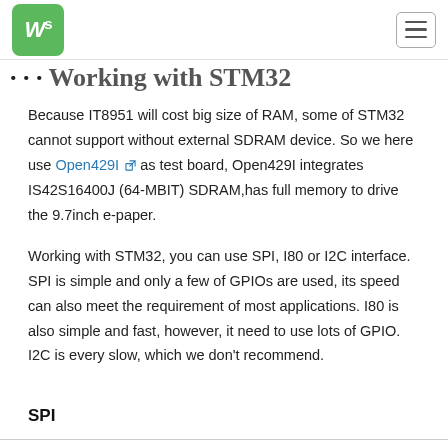Waveshare logo and navigation menu
Working with STM32
Because IT8951 will cost big size of RAM, some of STM32 cannot support without external SDRAM device. So we here use Open429I as test board, Open429I integrates IS42S16400J (64-MBIT) SDRAM,has full memory to drive the 9.7inch e-paper.
Working with STM32, you can use SPI, I80 or I2C interface. SPI is simple and only a few of GPIOs are used, its speed can also meet the requirement of most applications. I80 is also simple and fast, however, it need to use lots of GPIO. I2C is every slow, which we don't recommend.
SPI